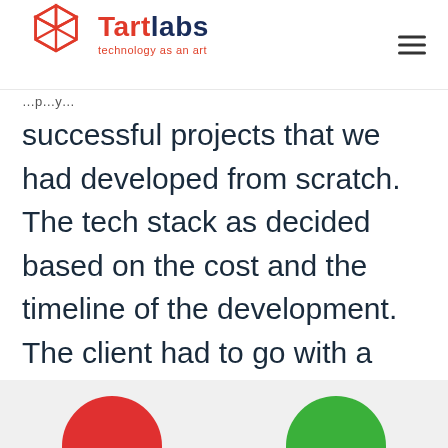Tartlabs — technology as an art
successful projects that we had developed from scratch. The tech stack as decided based on the cost and the timeline of the development. The client had to go with a lean stack since he had a low budget initially.
[Figure (other): Bottom strip with partial colored circles (red and green) emerging from the bottom of the page]